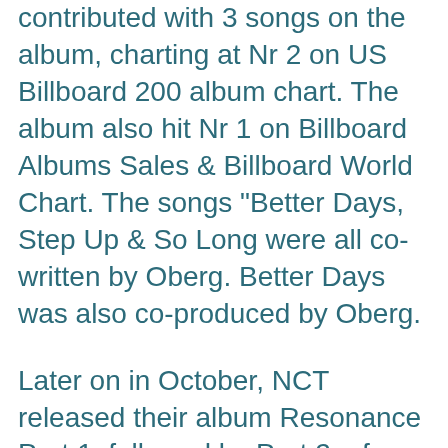contributed with 3 songs on the album, charting at Nr 2 on US Billboard 200 album chart. The album also hit Nr 1 on Billboard Albums Sales & Billboard World Chart. The songs "Better Days, Step Up & So Long were all co-written by Oberg. Better Days was also co-produced by Oberg.
Later on in October, NCT released their album Resonance Part 1, followed by Part 2 a few weeks later. The albums have so far sold close over 3 million physical units. Oberg co-wrote one of the songs called "Dancing In The Rain" Part 1 also reached Nr 6 on US Billboard 200 & Nr 1 on the World Chart.
Popular boyband EXO released their long aw[obscured]meback mini